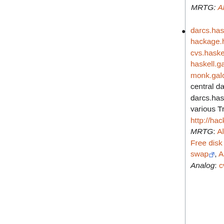MRTG: All network traffic.
darcs.haskell.org, hackage.haskell.org, cvs.haskell.org, haskell.galois.com, monk.galois.com, run by Galois. This machine serves the central darcs repositories for the projects hosted at darcs.haskell.org, the darcsweb service, and it also runs the various Trac instances (eg. http://hackage.haskell.org/trac/ghc ). MRTG: All network traffic, External network bandwidth, Free disk space, System load, Free memory, Free swap, All of the daily graphs. Analog: cvs/darcs, hackage.